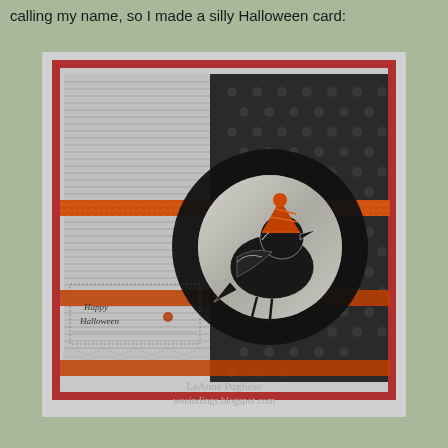calling my name, so I made a silly Halloween card:
[Figure (photo): A handmade Halloween greeting card featuring a black crow/raven wearing an orange glitter party hat, set against a silver metallic circle on a black glitter ring. The card background has gray striped and black polka-dot patterned papers layered on a red card base, with orange glitter ribbon strips running horizontally. A small 'Happy Halloween' sentiment stamp appears in the lower left. The card is photographed at a slight angle.]
LeAnne Pugliese
weeindings.blogspot.com